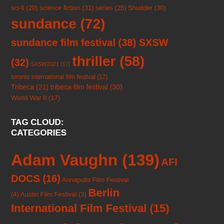sci-fi (20) science fiction (31) series (25) Shudder (30) sundance (72) sundance film festival (38) SXSW (32) SXSW2021 (17) thriller (58) toronto international film festival (17) Tribeca (21) tribeca film festival (30) World War II (17)
TAG CLOUD: CATEGORIES
Adam Vaughn (139) AFI DOCS (16) Annapolis Film Festival (4) Austin Film Festival (3) Berlin International Film Festival (15) Breaking (1220)